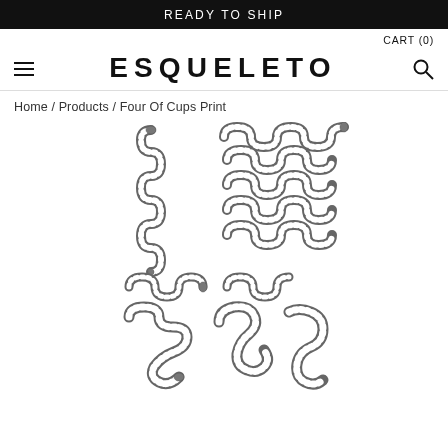READY TO SHIP
CART (0)
[Figure (logo): Hamburger menu icon (three horizontal lines)]
ESQUELETO
[Figure (other): Search magnifying glass icon]
Home / Products / Four Of Cups Print
[Figure (illustration): Black and white illustration of four snakes arranged in a rectangular pattern, each snake coiled in a zigzag/wave pattern. The snakes are rendered in detailed crosshatch engraving style. The image is cropped at the bottom.]